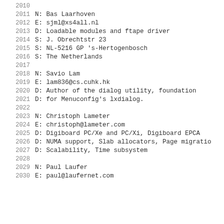2010
2011  N: Bas Laarhoven
2012  E: sjml@xs4all.nl
2013  D: Loadable modules and ftape driver
2014  S: J. Obrechtstr 23
2015  S: NL-5216 GP 's-Hertogenbosch
2016  S: The Netherlands
2017
2018  N: Savio Lam
2019  E: lam836@cs.cuhk.hk
2020  D: Author of the dialog utility, foundation
2021  D: for Menuconfig's lxdialog.
2022
2023  N: Christoph Lameter
2024  E: christoph@lameter.com
2025  D: Digiboard PC/Xe and PC/Xi, Digiboard EPCA
2026  D: NUMA support, Slab allocators, Page migratio
2027  D: Scalability, Time subsystem
2028
2029  N: Paul Laufer
2030  E: paul@laufernet.com